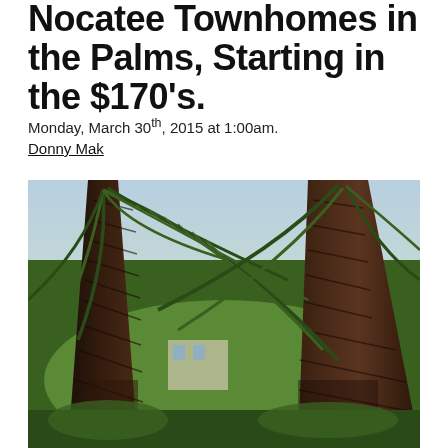Nocatee Townhomes in the Palms, Starting in the $170's.
Monday, March 30th, 2015 at 1:00am.
Donny Mak
[Figure (photo): Close-up photograph of palm trees with large fronds arching overhead and thick rough-barked trunks, with green foliage and a glimpse of buildings visible in the background.]